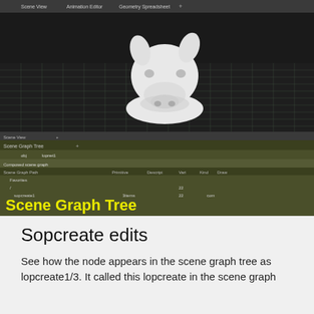[Figure (screenshot): Houdini 3D software interface showing a Scene View with a white pig/boar head 3D model on a dark grid floor, with Scene Graph Tree panel below showing 'sopcreate1' node with 'Scene Graph Tree' label in yellow text, Scene Graph Details panel to the right, and SOP Import panel on the far right. The Scene Graph Tree panel is highlighted with a yellow 'Scene Graph Tree' label in the lower-left.]
Sopcreate edits
See how the node appears in the scene graph tree as lopcreate1/3. It called this lopcreate in the scene graph...